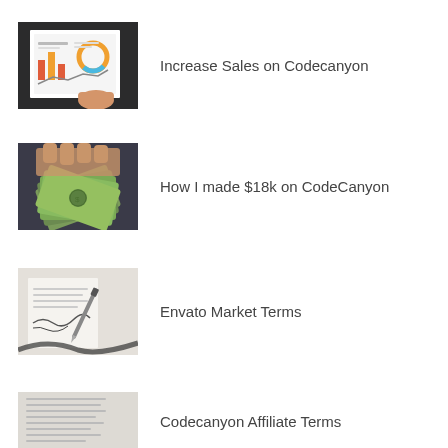[Figure (photo): Thumbnail image of a notebook with charts and analytics dashboard]
Increase Sales on Codecanyon
[Figure (photo): Thumbnail image of hands holding cash dollar bills]
How I made $18k on CodeCanyon
[Figure (photo): Thumbnail image of a hand signing a document with glasses]
Envato Market Terms
[Figure (photo): Thumbnail image of a document with text]
Codecanyon Affiliate Terms